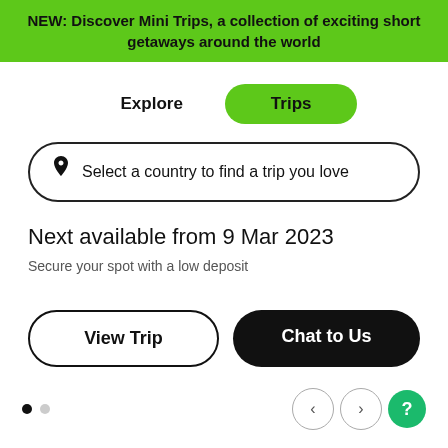NEW: Discover Mini Trips, a collection of exciting short getaways around the world
Explore
Trips
Select a country to find a trip you love
Next available from 9 Mar 2023
Secure your spot with a low deposit
View Trip
Chat to Us